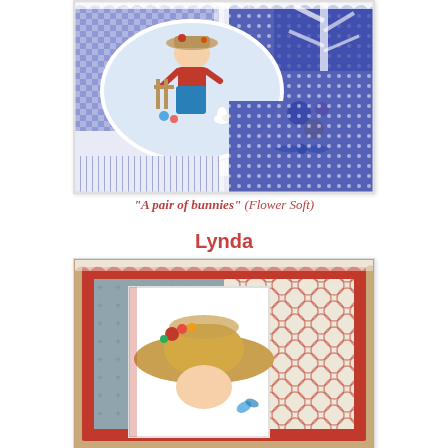[Figure (photo): Handmade craft card with a blue gingham and polka-dot patterned background, featuring an oval vignette of a little girl in a red top and blue overalls tending to flowers at a fence, with decorative lace and floral embellishments including roses and blue flowers on the right side.]
"A pair of bunnies" (Flower Soft)
Lynda
[Figure (photo): Handmade craft card with a red decorative border, blue/grey star-patterned background on the left, geometric circle pattern on the right, featuring an illustration of a girl in a large tan hat with flowers, holding a butterfly.]